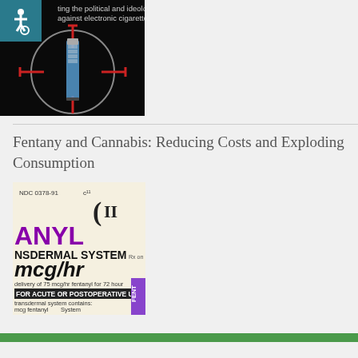[Figure (photo): Black background image showing an electronic cigarette/vape pen in crosshairs (gun sight), with partial text 'ting the political and ideolog against electronic cigarettes' visible at top. An accessibility wheelchair icon overlay in teal appears in top-left corner.]
Fentany and Cannabis: Reducing Costs and Exploding Consumption
[Figure (photo): Photo of a Fentanyl Transdermal System medication label showing text: NDC 0378-91, ANYL, NSDERMAL SYSTEM, mcg/hr, delivery of 75 mcg/hr fentanyl for 72 hours, FOR ACUTE OR POSTOPERATIVE USE, transdermal system contains, mcg fentanyl, System. Purple brand logo visible at top right.]